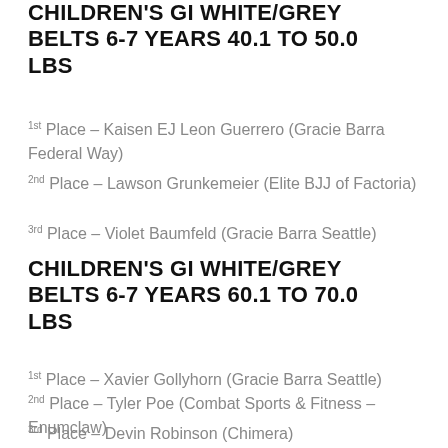CHILDREN'S GI WHITE/GREY BELTS 6-7 YEARS 40.1 TO 50.0 LBS
1st Place – Kaisen EJ Leon Guerrero (Gracie Barra Federal Way)
2nd Place – Lawson Grunkemeier (Elite BJJ of Factoria)
3rd Place – Violet Baumfeld (Gracie Barra Seattle)
CHILDREN'S GI WHITE/GREY BELTS 6-7 YEARS 60.1 TO 70.0 LBS
1st Place – Xavier Gollyhorn (Gracie Barra Seattle)
2nd Place – Tyler Poe (Combat Sports & Fitness – Enumclaw)
3rd Place – Devin Robinson (Chimera)
CHILDREN'S GI WHITE/GREY